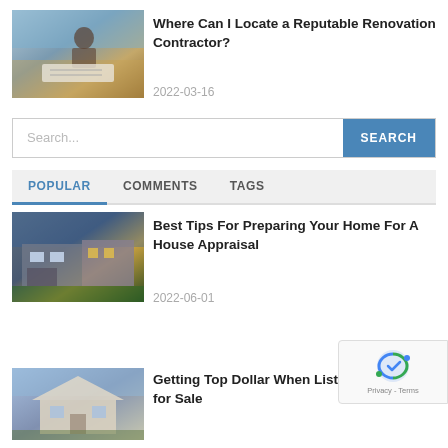[Figure (photo): Person reviewing blueprints/plans outdoors on a wooden structure]
Where Can I Locate a Reputable Renovation Contractor?
2022-03-16
Search...
POPULAR   COMMENTS   TAGS
[Figure (photo): Modern luxury house exterior at dusk with lighting]
Best Tips For Preparing Your Home For A House Appraisal
2022-06-01
[Figure (photo): Suburban house exterior for sale]
Getting Top Dollar When Listing Your House for Sale